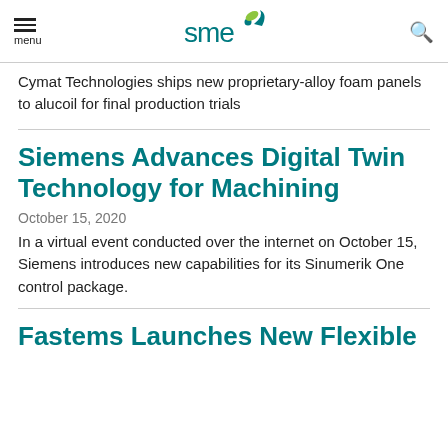menu | sme | search
Cymat Technologies ships new proprietary-alloy foam panels to alucoil for final production trials
Siemens Advances Digital Twin Technology for Machining
October 15, 2020
In a virtual event conducted over the internet on October 15, Siemens introduces new capabilities for its Sinumerik One control package.
Fastems Launches New Flexible